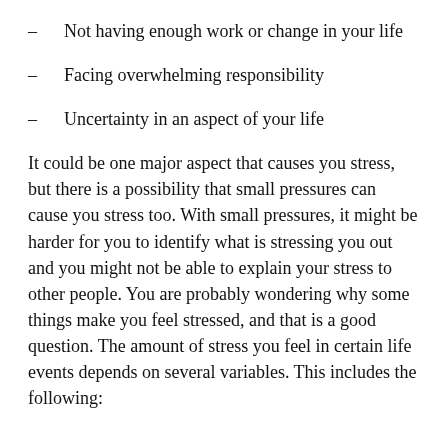– Not having enough work or change in your life
– Facing overwhelming responsibility
– Uncertainty in an aspect of your life
It could be one major aspect that causes you stress, but there is a possibility that small pressures can cause you stress too. With small pressures, it might be harder for you to identify what is stressing you out and you might not be able to explain your stress to other people. You are probably wondering why some things make you feel stressed, and that is a good question. The amount of stress you feel in certain life events depends on several variables. This includes the following: